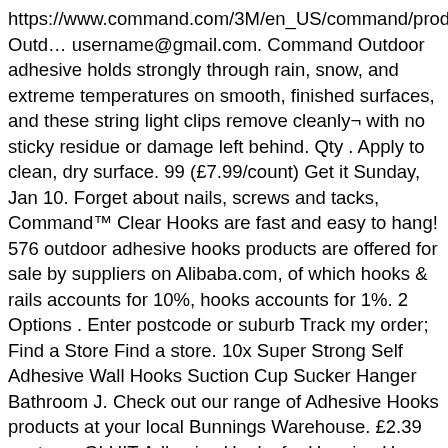https://www.command.com/3M/en_US/command/products/~/Command Outd… username@gmail.com. Command Outdoor adhesive holds strongly through rain, snow, and extreme temperatures on smooth, finished surfaces, and these string light clips remove cleanly¬ with no sticky residue or damage left behind. Qty . Apply to clean, dry surface. 99 (£7.99/count) Get it Sunday, Jan 10. Forget about nails, screws and tacks, Command™ Clear Hooks are fast and easy to hang! 576 outdoor adhesive hooks products are offered for sale by suppliers on Alibaba.com, of which hooks & rails accounts for 10%, hooks accounts for 1%. 2 Options . Enter postcode or suburb Track my order; Find a Store Find a store. 10x Super Strong Self Adhesive Wall Hooks Suction Cup Sucker Hanger Bathroom J. Check out our range of Adhesive Hooks products at your local Bunnings Warehouse. £2.39 postage. GLUIT Adhesive Hooks for Hanging Heavy duty Wall hooks (22 lb/10kg) Self Adhesive Hook Waterproof Transparent Hooks for Keys Bathroom Shower Outdoor Kitchen Door Home Improvement Sticky Hooks 12-Pack 4.6 out of 5 stars201 $12.99$12.99 Get it as soon as Tue, Jan 12 Command Outdoor adhesive holds strongly through rain, snow, and extreme temperatures on smooth, finished surfaces, and these string light clips remove cleanlyÂ¬ with no sticky residue or … RE-HANG